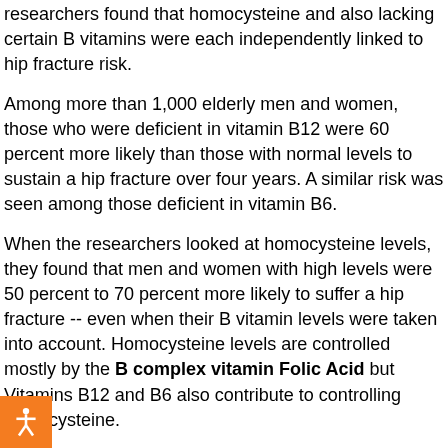researchers found that homocysteine and also lacking certain B vitamins were each independently linked to hip fracture risk.
Among more than 1,000 elderly men and women, those who were deficient in vitamin B12 were 60 percent more likely than those with normal levels to sustain a hip fracture over four years. A similar risk was seen among those deficient in vitamin B6.
When the researchers looked at homocysteine levels, they found that men and women with high levels were 50 percent to 70 percent more likely to suffer a hip fracture -- even when their B vitamin levels were taken into account. Homocysteine levels are controlled mostly by the B complex vitamin Folic Acid but Vitamins B12 and B6 also contribute to controlling homocysteine.
"We've seen evidence in the past that high homocysteine is associated with elevated risk of hip fractures," lead investigator Robert R. McLean said in an interview. However, he added